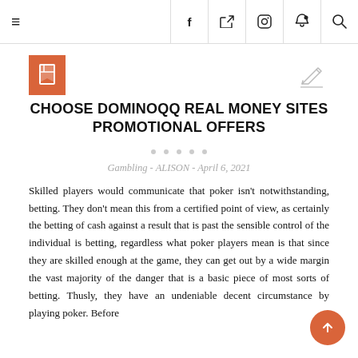≡  f  𝓌  camera  pinterest  search
[Figure (illustration): Bookmark icon in orange square and pencil/edit icon]
CHOOSE DOMINOQQ REAL MONEY SITES PROMOTIONAL OFFERS
Gambling - ALISON - April 6, 2021
Skilled players would communicate that poker isn't notwithstanding, betting. They don't mean this from a certified point of view, as certainly the betting of cash against a result that is past the sensible control of the individual is betting, regardless what poker players mean is that since they are skilled enough at the game, they can get out by a wide margin the vast majority of the danger that is a basic piece of most sorts of betting. Thusly, they have an undeniable decent circumstance by playing poker. Before